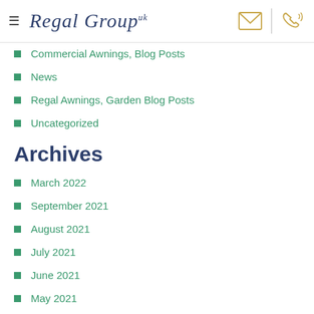Regal Group uk
Commercial Awnings, Blog Posts
News
Regal Awnings, Garden Blog Posts
Uncategorized
Archives
March 2022
September 2021
August 2021
July 2021
June 2021
May 2021
April 2021